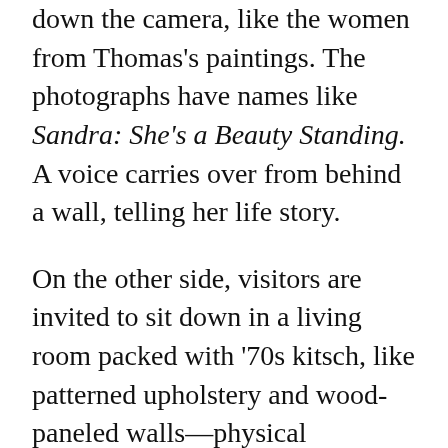down the camera, like the women from Thomas's paintings. The photographs have names like Sandra: She's a Beauty Standing. A voice carries over from behind a wall, telling her life story.
On the other side, visitors are invited to sit down in a living room packed with '70s kitsch, like patterned upholstery and wood-paneled walls—physical memories from Thomas's childhood. Paintings and photos of the artist's superhero women hang on the wall. A film starts, and all of a sudden we meet the woman from the photographs. It's Thomas's mother,